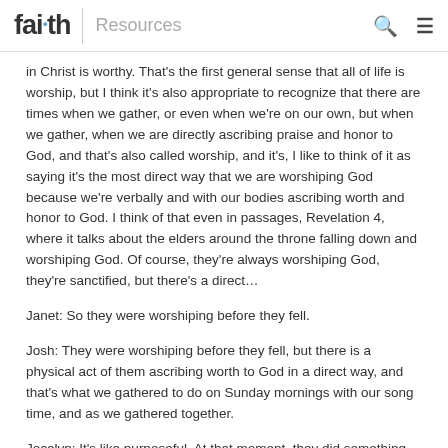faith Resources
in Christ is worthy. That's the first general sense that all of life is worship, but I think it's also appropriate to recognize that there are times when we gather, or even when we're on our own, but when we gather, when we are directly ascribing praise and honor to God, and that's also called worship, and it's, I like to think of it as saying it's the most direct way that we are worshiping God because we're verbally and with our bodies ascribing worth and honor to God. I think of that even in passages, Revelation 4, where it talks about the elders around the throne falling down and worshiping God. Of course, they're always worshiping God, they're sanctified, but there's a direct…
Janet: So they were worshiping before they fell.
Josh: They were worshiping before they fell, but there is a physical act of them ascribing worth to God in a direct way, and that's what we gathered to do on Sunday mornings with our song time, and as we gathered together.
Jocelyn: It's like purposeful. At that moment, they did something organized and purposeful.